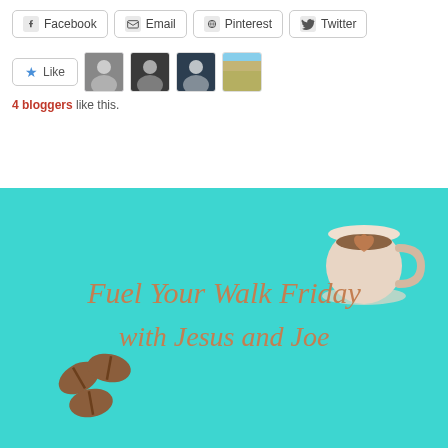[Figure (screenshot): Social media share buttons: Facebook, Email, Pinterest, Twitter]
[Figure (screenshot): Like button with star icon and 4 blogger avatars]
4 bloggers like this.
[Figure (illustration): Teal/turquoise banner with text 'Fuel Your Walk Friday with Jesus and Joe', a coffee cup illustration top right, and coffee beans bottom left]